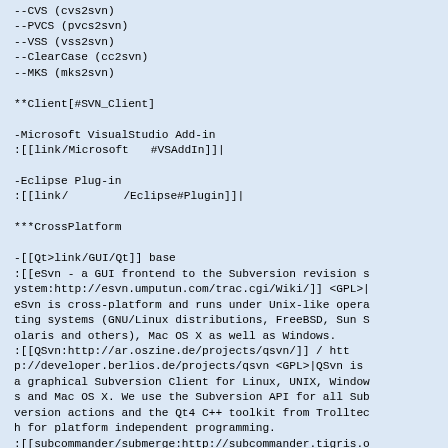--CVS (cvs2svn)
--PVCS (pvcs2svn)
--VSS (vss2svn)
--ClearCase (cc2svn)
--MKS (mks2svn)

**Client[#SVN_Client]

-Microsoft VisualStudio Add-in
:[[link:/Microsoft #VSAddIn]]|

-Eclipse Plug-in
:[[link:/Eclipse#Plugin]]|

***CrossPlatform

-[[Qt>link:/GUI/Qt]] base
:[[eSvn - a GUI frontend to the Subversion revision system:http://esvn.umputun.com/trac.cgi/Wiki/]] <GPL>|eSvn is cross-platform and runs under Unix-like operating systems (GNU/Linux distributions, FreeBSD, Sun Solaris and others), Mac OS X as well as Windows.
:[[QSvn:http://ar.oszine.de/projects/qsvn/]] / http://developer.berlios.de/projects/qsvn <GPL>|QSvn is a graphical Subversion Client for Linux, UNIX, Windows and Mac OS X. We use the Subversion API for all Subversion actions and the Qt4 C++ toolkit from Trolltech for platform independent programming.
:[[subcommander/submerge:http://subcommander.tigris.org]] <GPL>|The goal of the Subcommander project is to